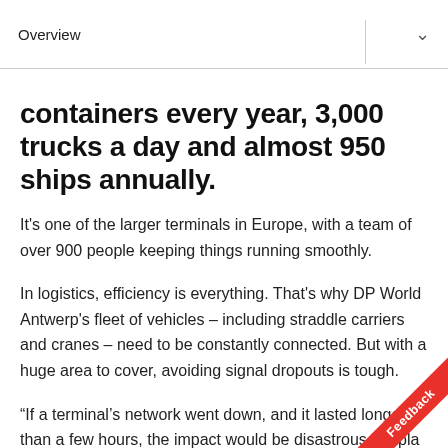Overview
containers every year, 3,000 trucks a day and almost 950 ships annually.
It's one of the larger terminals in Europe, with a team of over 900 people keeping things running smoothly.
In logistics, efficiency is everything. That's why DP World Antwerp's fleet of vehicles – including straddle carriers and cranes – need to be constantly connected. But with a huge area to cover, avoiding signal dropouts is tough.
“If a terminal’s network went down, and it lasted longer than a few hours, the impact would be disastrous,” expl… Jef Lambregts, DP World Antwerp’s head of engin…